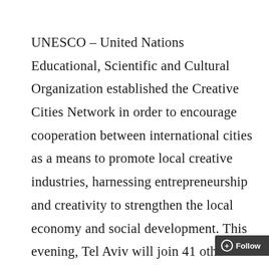UNESCO – United Nations Educational, Scientific and Cultural Organization established the Creative Cities Network in order to encourage cooperation between international cities as a means to promote local creative industries, harnessing entrepreneurship and creativity to strengthen the local economy and social development. This evening, Tel Aviv will join 41 other cities each recognized in one of seven categories: Literature, Film, Music, Cr...